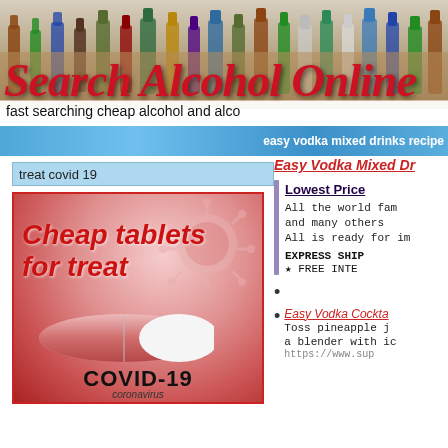[Figure (illustration): Website banner with alcohol bottles and Search Alcohol Online title, subtitle 'fast searching cheap alcohol and alco', and bokeh blue bar with 'easy vodka mixed drinks recipe']
treat covid 19
Easy Vodka Mixed Dr...
[Figure (photo): Advertisement image showing COVID-19 virus and red-white pill capsule with text 'Cheap tablets for treat' and 'COVID-19 coronavirus']
Lowest Price...
All the world fam... and many others... All is ready for im...
EXPRESS SHIP... ★ FREE INTE...
Easy Vodka Cockta... Toss pineapple j... a blender with ic... https://www.sup...